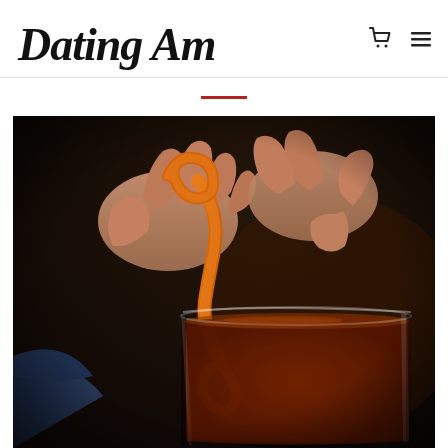Dating America
[Figure (photo): Close-up of hands twisting an orange peel garnish over a dark whiskey cocktail in a rocks glass, dramatic dark background]